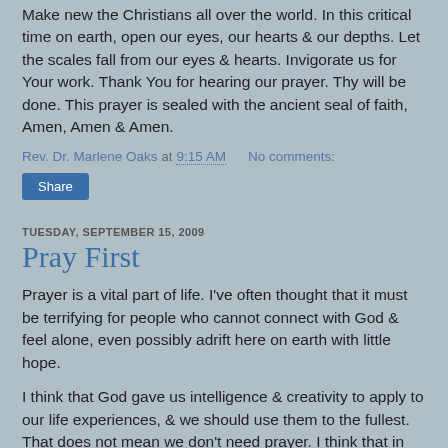Make new the Christians all over the world. In this critical time on earth, open our eyes, our hearts & our depths. Let the scales fall from our eyes & hearts. Invigorate us for Your work. Thank You for hearing our prayer. Thy will be done. This prayer is sealed with the ancient seal of faith, Amen, Amen & Amen.
Rev. Dr. Marlene Oaks at 9:15 AM   No comments:
Share
TUESDAY, SEPTEMBER 15, 2009
Pray First
Prayer is a vital part of life. I've often thought that it must be terrifying for people who cannot connect with God & feel alone, even possibly adrift here on earth with little hope.
I think that God gave us intelligence & creativity to apply to our life experiences, & we should use them to the fullest. That does not mean we don't need prayer. I think that in any serious attempt to live a spiritual life, prayer is an essential